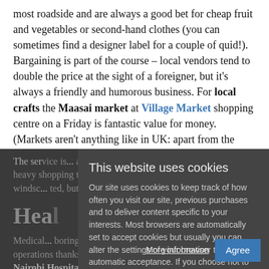most roadside and are always a good bet for cheap fruit and vegetables or second-hand clothes (you can sometimes find a designer label for a couple of quid!). Bargaining is part of the course – local vendors tend to double the price at the sight of a foreigner, but it's always a friendly and humorous business. For local crafts the Maasai market at Village Market shopping centre on a Friday is fantastic value for money. (Markets aren't anything like in UK: apart from the Maasai one, they are haphazard and illegal... can you tell?).
The service is... Shop assistants automatically carry your heavy shopping to your car, fuel stations aren't... back and windsc... ted, but nobody... Hea...
Heal
Medical... boring because... hospital for routine operations thanks to better quality of service and it's cheaper. Nairobi Hospital, The Aga Khan hospital and Gertrude's Children's Hospital have excell... ors and
This website uses cookies

Our site uses cookies to keep track of how often you visit our site, previous purchases and to deliver content specific to your interests. Most browsers are automatically set to accept cookies but usually you can alter the settings of your browser to prevent automatic acceptance. If you choose not to receive cookies, you may still use most of the features of our website.